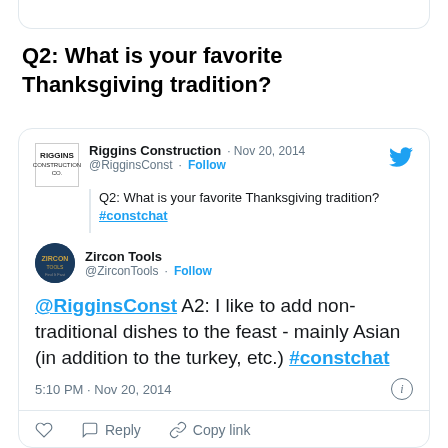[Figure (screenshot): Top of a previous tweet card, partially visible at the top of the page]
Q2: What is your favorite Thanksgiving tradition?
[Figure (screenshot): Tweet from Riggins Construction (@RigginsConst) on Nov 20, 2014, asking Q2: What is your favorite Thanksgiving tradition? #constchat. Replied by Zircon Tools (@ZirconTools): @RigginsConst A2: I like to add non-traditional dishes to the feast - mainly Asian (in addition to the turkey, etc.) #constchat. Timestamp: 5:10 PM · Nov 20, 2014. Actions: Like, Reply, Copy link.]